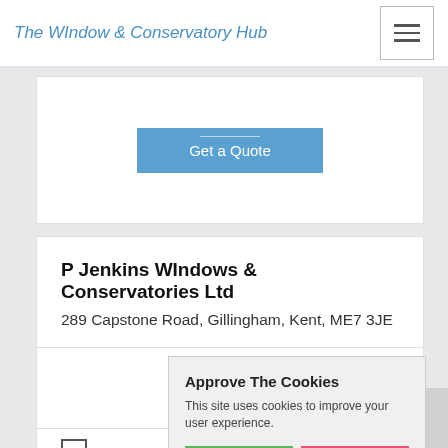The Window & Conservatory Hub
[Figure (screenshot): Get a Quote button - blue rounded rectangle button with white text and a horizontal line above the text]
P Jenkins WIndows & Conservatories Ltd
289 Capstone Road, Gillingham, Kent, ME7 3JE
627
[Figure (other): Two and a half star rating shown with grey star icons]
Approve The Cookies
This site uses cookies to improve your user experience.
Accept  Decline
Cookie policy